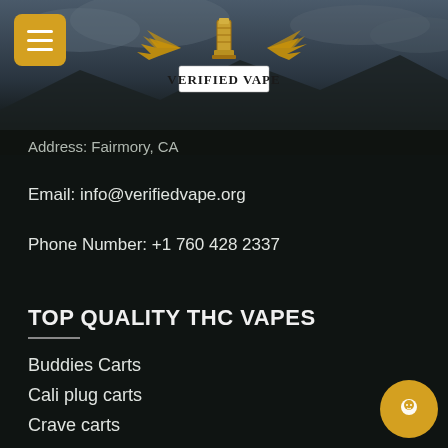[Figure (logo): Verified Vape logo with golden wings and lighthouse/tower icon, text 'VERIFIED VAPE' below in styled font]
Address: Fairmory, CA
Email: info@verifiedvape.org
Phone Number: +1 760 428 2337
TOP QUALITY THC VAPES
Buddies Carts
Cali plug carts
Crave carts
Gold Coast Clear Carts
Jetty extract